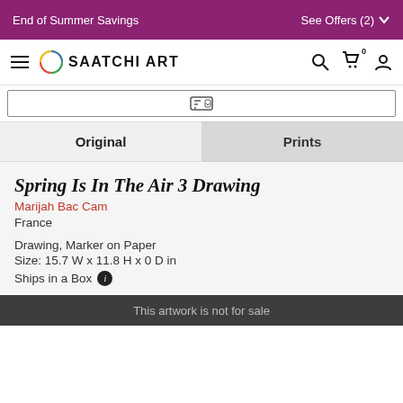End of Summer Savings   See Offers (2)
SAATCHI ART
[Figure (screenshot): Search bar with keyboard/return icon]
Original   Prints
Spring Is In The Air 3 Drawing
Marijah Bac Cam
France
Drawing, Marker on Paper
Size: 15.7 W x 11.8 H x 0 D in
Ships in a Box
This artwork is not for sale